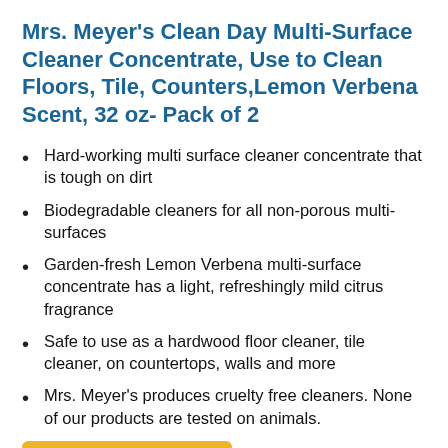Mrs. Meyer's Clean Day Multi-Surface Cleaner Concentrate, Use to Clean Floors, Tile, Counters,Lemon Verbena Scent, 32 oz- Pack of 2
Hard-working multi surface cleaner concentrate that is tough on dirt
Biodegradable cleaners for all non-porous multi-surfaces
Garden-fresh Lemon Verbena multi-surface concentrate has a light, refreshingly mild citrus fragrance
Safe to use as a hardwood floor cleaner, tile cleaner, on countertops, walls and more
Mrs. Meyer's produces cruelty free cleaners. None of our products are tested on animals.
[Figure (other): Amazon buy button with orange/yellow background, Amazon 'a' logo and text 'Buy on Amazon']